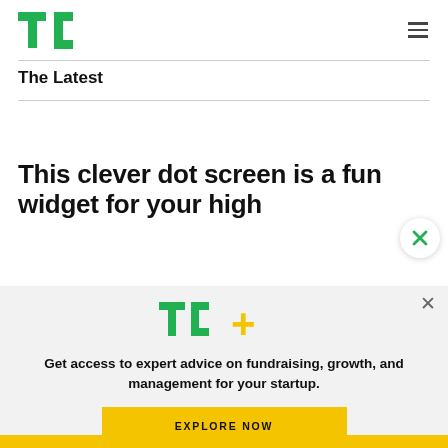TechCrunch
The Latest
This clever dot screen is a fun widget for your high
[Figure (logo): TC+ logo — TechCrunch plus logo in green and yellow]
Get access to expert advice on fundraising, growth, and management for your startup.
EXPLORE NOW